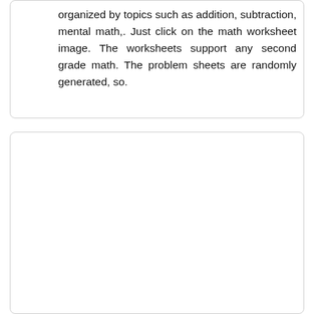organized by topics such as addition, subtraction, mental math,. Just click on the math worksheet image. The worksheets support any second grade math. The problem sheets are randomly generated, so.
[Figure (other): Empty white card/box with rounded border, no visible content inside.]